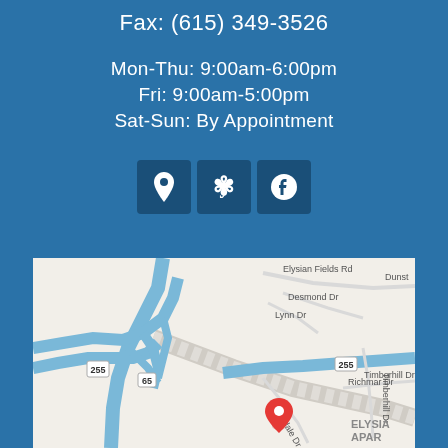Fax: (615) 349-3526
Mon-Thu: 9:00am-6:00pm
Fri: 9:00am-5:00pm
Sat-Sun: By Appointment
[Figure (infographic): Three social media icon buttons: Google Maps pin icon, Yelp icon, and Facebook icon, displayed as white icons on dark blue square backgrounds]
[Figure (map): Google Maps screenshot showing a location near Trousdale Dr in Nashville area, with interstate highways 255 and 65, showing Elysian Fields Rd, Desmond Dr, Lynn Dr, Richmar Dr, Timberhill Dr, and Elysian Apartments area. A red location pin marker is visible on Trousdale Dr.]